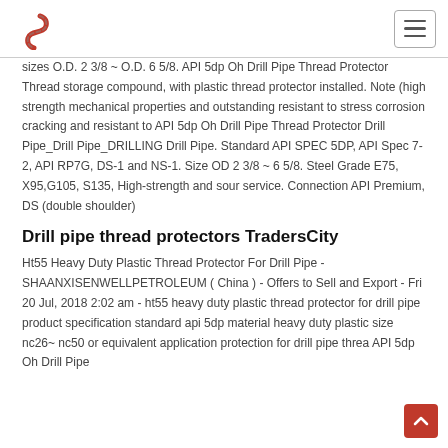Logo and navigation header
sizes O.D. 2 3/8 ~ O.D. 6 5/8. API 5dp Oh Drill Pipe Thread Protector Thread storage compound, with plastic thread protector installed. Note (high strength mechanical properties and outstanding resistant to stress corrosion cracking and resistant to API 5dp Oh Drill Pipe Thread Protector Drill Pipe_Drill Pipe_DRILLING Drill Pipe. Standard API SPEC 5DP, API Spec 7-2, API RP7G, DS-1 and NS-1. Size OD 2 3/8 ~ 6 5/8. Steel Grade E75, X95,G105, S135, High-strength and sour service. Connection API Premium, DS (double shoulder)
Drill pipe thread protectors TradersCity
Ht55 Heavy Duty Plastic Thread Protector For Drill Pipe - SHAANXISENWELLPETROLEUM ( China ) - Offers to Sell and Export - Fri 20 Jul, 2018 2:02 am - ht55 heavy duty plastic thread protector for drill pipe product specification standard api 5dp material heavy duty plastic size nc26~ nc50 or equivalent application protection for drill pipe threa API 5dp Oh Drill Pipe